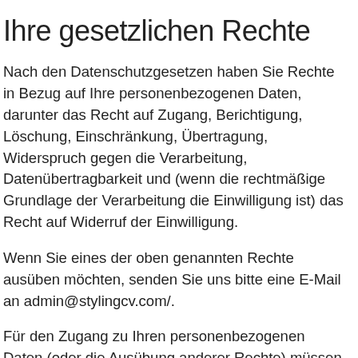Ihre gesetzlichen Rechte
Nach den Datenschutzgesetzen haben Sie Rechte in Bezug auf Ihre personenbezogenen Daten, darunter das Recht auf Zugang, Berichtigung, Löschung, Einschränkung, Übertragung, Widerspruch gegen die Verarbeitung, Datenübertragbarkeit und (wenn die rechtmäßige Grundlage der Verarbeitung die Einwilligung ist) das Recht auf Widerruf der Einwilligung.
Wenn Sie eines der oben genannten Rechte ausüben möchten, senden Sie uns bitte eine E-Mail an admin@stylingcv.com/.
Für den Zugang zu Ihren personenbezogenen Daten (oder die Ausübung anderer Rechte) müssen Sie keine Gebühren zahlen. Es kann sein, dass wir bestimmte Informationen von Ihnen anfordern müssen, um Ihre Identität zu bestätigen und